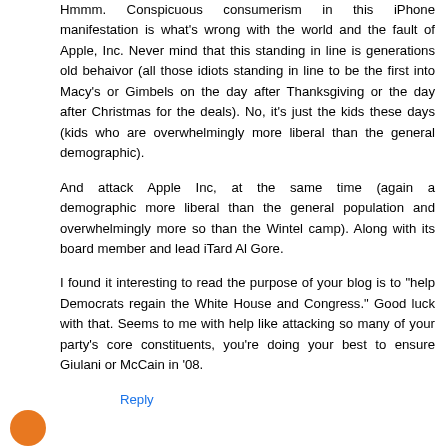Hmmm. Conspicuous consumerism in this iPhone manifestation is what's wrong with the world and the fault of Apple, Inc. Never mind that this standing in line is generations old behaivor (all those idiots standing in line to be the first into Macy's or Gimbels on the day after Thanksgiving or the day after Christmas for the deals). No, it's just the kids these days (kids who are overwhelmingly more liberal than the general demographic).
And attack Apple Inc, at the same time (again a demographic more liberal than the general population and overwhelmingly more so than the Wintel camp). Along with its board member and lead iTard Al Gore.
I found it interesting to read the purpose of your blog is to "help Democrats regain the White House and Congress." Good luck with that. Seems to me with help like attacking so many of your party's core constituents, you're doing your best to ensure Giulani or McCain in '08.
Reply